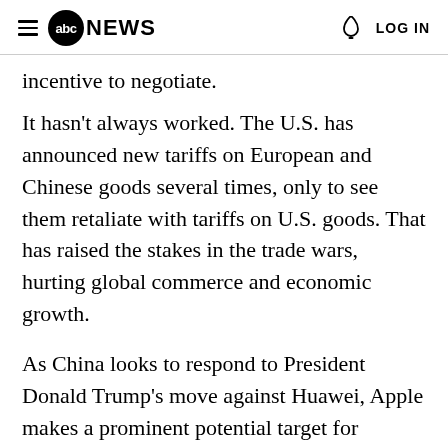abc NEWS | LOG IN
incentive to negotiate.
It hasn't always worked. The U.S. has announced new tariffs on European and Chinese goods several times, only to see them retaliate with tariffs on U.S. goods. That has raised the stakes in the trade wars, hurting global commerce and economic growth.
As China looks to respond to President Donald Trump's move against Huawei, Apple makes a prominent potential target for retaliation.
Apple is Huawei's main American rival in